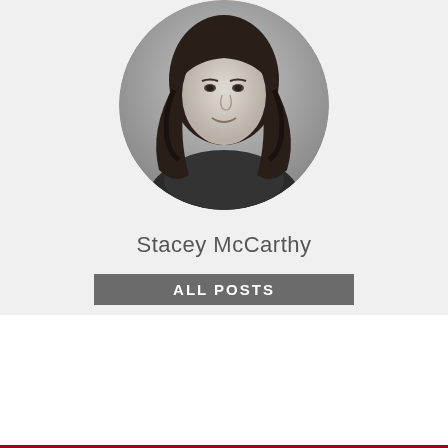[Figure (photo): Circular black and white portrait photo of a woman with long wavy hair, smiling slightly, cropped in a circle]
Stacey McCarthy
ALL POSTS